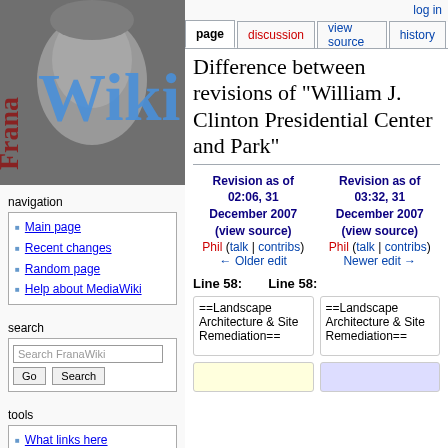[Figure (photo): FranaWiki logo: black and white photo of elderly man's face with 'Frana' text vertically on left and 'Wiki' text in blue overlaid]
navigation
Main page
Recent changes
Random page
Help about MediaWiki
search
Search FranaWiki [Go] [Search]
tools
What links here
Related changes
Special pages
Printable version
log in
page | discussion | view source | history
Difference between revisions of "William J. Clinton Presidential Center and Park"
Revision as of 02:06, 31 December 2007 (view source)
Phil (talk | contribs)
← Older edit
Revision as of 03:32, 31 December 2007 (view source)
Phil (talk | contribs)
Newer edit →
Line 58:
Line 58:
==Landscape Architecture & Site Remediation==
==Landscape Architecture & Site Remediation==